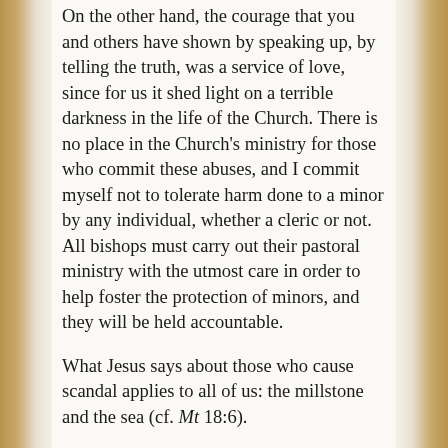On the other hand, the courage that you and others have shown by speaking up, by telling the truth, was a service of love, since for us it shed light on a terrible darkness in the life of the Church. There is no place in the Church's ministry for those who commit these abuses, and I commit myself not to tolerate harm done to a minor by any individual, whether a cleric or not. All bishops must carry out their pastoral ministry with the utmost care in order to help foster the protection of minors, and they will be held accountable.
What Jesus says about those who cause scandal applies to all of us: the millstone and the sea (cf. Mt 18:6).
By the same token we will continue to exercise vigilance in priestly formation. I am counting on the members of the Pontifical Commission for the Protection of Minors, all minors, whatever religion they belong to, they are little flowers which God looks lovingly upon.
I ask this support so as to help me ensure that we